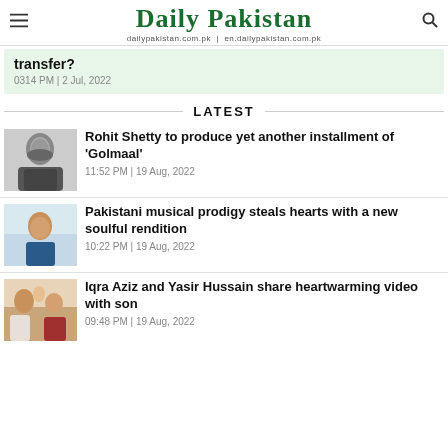Daily Pakistan | dailypakistan.com.pk | en.dailypakistan.com.pk
transfer?
0314 PM | 2 Jul, 2022
LATEST
[Figure (photo): Black and white photo of a bearded man in a suit]
Rohit Shetty to produce yet another installment of 'Golmaal'
11:52 PM | 19 Aug, 2022
[Figure (photo): Photo of a young boy smiling, wearing a dark blue shirt]
Pakistani musical prodigy steals hearts with a new soulful rendition
10:22 PM | 19 Aug, 2022
[Figure (photo): Photo of a family with a man holding a baby and a woman smiling]
Iqra Aziz and Yasir Hussain share heartwarming video with son
09:48 PM | 19 Aug, 2022